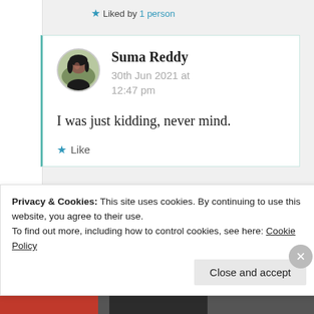★ Liked by 1 person
[Figure (photo): Circular profile photo of Suma Reddy]
Suma Reddy
30th Jun 2021 at 12:47 pm
I was just kidding, never mind.
★ Like
Privacy & Cookies: This site uses cookies. By continuing to use this website, you agree to their use.
To find out more, including how to control cookies, see here: Cookie Policy
Close and accept